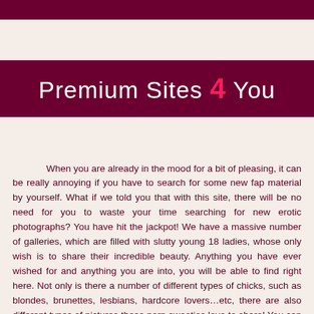Premium Sites 4 You
When you are already in the mood for a bit of pleasing, it can be really annoying if you have to search for some new fap material by yourself. What if we told you that with this site, there will be no need for you to waste your time searching for new erotic photographs? You have hit the jackpot! We have a massive number of galleries, which are filled with slutty young 18 ladies, whose only wish is to share their incredible beauty. Anything you have ever wished for and anything you are into, you will be able to find right here. Not only is there a number of different types of chicks, such as blondes, brunettes, lesbians, hardcore lovers…etc, there are also different types of pictures these porn sweeties love to share! You can watch these babes pose in their home, in their shower, outside or even as they have sex with their boyfriends. In addition, not only are you able to